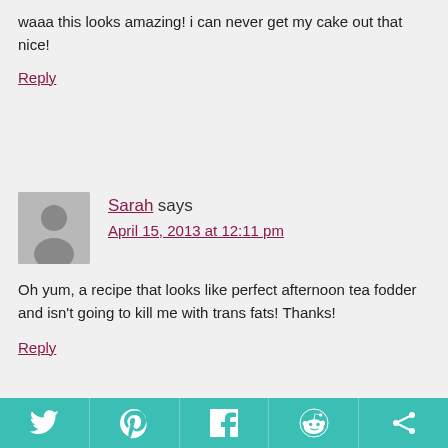waaa this looks amazing! i can never get my cake out that nice!
Reply
Sarah says
April 15, 2013 at 12:11 pm
Oh yum, a recipe that looks like perfect afternoon tea fodder and isn't going to kill me with trans fats! Thanks!
Reply
[Figure (infographic): Social sharing bar with Twitter, Pinterest, Facebook, Reddit, and share icons on teal background]